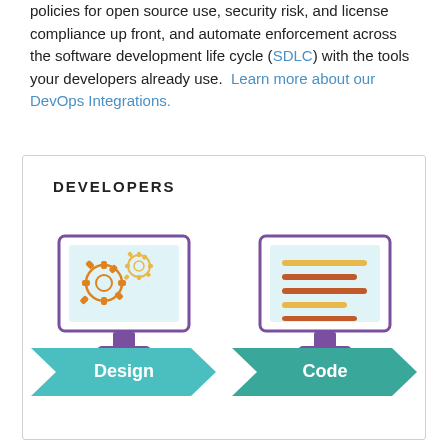policies for open source use, security risk, and license compliance up front, and automate enforcement across the software development life cycle (SDLC) with the tools your developers already use. Learn more about our DevOps Integrations.
[Figure (infographic): DEVELOPERS section with two monitor icons (Design showing gears, Code showing document lines) and two teal chevron/arrow banners labeled Design and Code]
DEVELOPERS